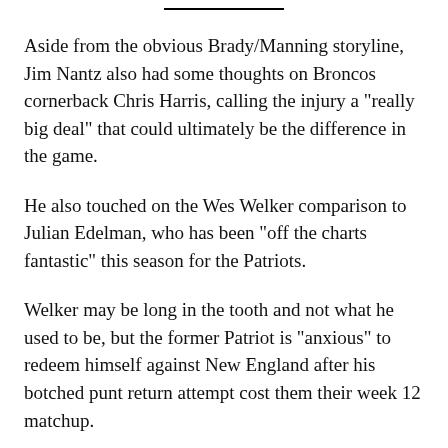Aside from the obvious Brady/Manning storyline, Jim Nantz also had some thoughts on Broncos cornerback Chris Harris, calling the injury a "really big deal" that could ultimately be the difference in the game.
He also touched on the Wes Welker comparison to Julian Edelman, who has been "off the charts fantastic" this season for the Patriots.
Welker may be long in the tooth and not what he used to be, but the former Patriot is "anxious" to redeem himself against New England after his botched punt return attempt cost them their week 12 matchup.